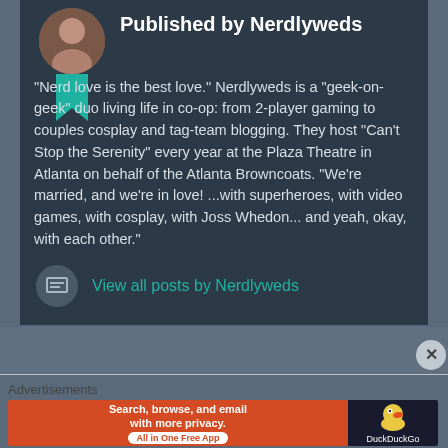Published by Nerdlyweds
"Nerd love is the best love." Nerdlyweds is a "geek-on-geek" duo living life in co-op: from 2-player gaming to couples cosplay and tag-team blogging. They host "Can't Stop the Serenity" every year at the Plaza Theatre in Atlanta on behalf of the Atlanta Browncoats. "We're married, and we're in love! ...with superheroes, with video games, with cosplay, with Joss Whedon... and yeah, okay, with each other."
View all posts by Nerdlyweds
Advertisements
[Figure (screenshot): DuckDuckGo advertisement banner: 'Search, browse, and email with more privacy. All in One Free App' with DuckDuckGo duck logo on dark right panel]